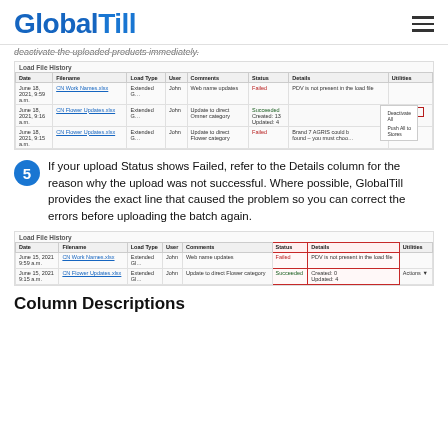GlobalTill
deactivate the uploaded products immediately.
[Figure (screenshot): Load File History table showing three rows with columns: Date, Filename, Load Type, User, Comments, Status, Details, Utilities. Rows include June 18 2021 entries with CN Work Names.xlsx (Failed - PDV is not present in the load file), CN Flower Updates.xlsx (Succeeded - Created 13, Updated 4), and CN Flower Updates.xlsx (Failed - Brand 7 AGRIS couldn't be found). Actions button dropdown visible with Deactivate All and Push All to Stores options.]
If your upload Status shows Failed, refer to the Details column for the reason why the upload was not successful. Where possible, GlobalTill provides the exact line that caused the problem so you can correct the errors before uploading the batch again.
[Figure (screenshot): Load File History table with Status and Details columns highlighted in red box. Shows June 15 2021 rows: CN Work Names.xlsx Failed - PDV is not present in the load file; CN Flower Updates.xlsx Succeeded - Created 0, Updated 4.]
Column Descriptions